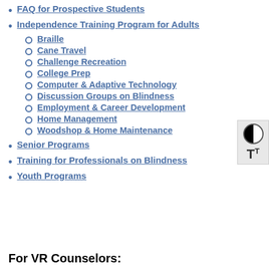FAQ for Prospective Students
Independence Training Program for Adults
Braille
Cane Travel
Challenge Recreation
College Prep
Computer & Adaptive Technology
Discussion Groups on Blindness
Employment & Career Development
Home Management
Woodshop & Home Maintenance
Senior Programs
Training for Professionals on Blindness
Youth Programs
For VR Counselors: